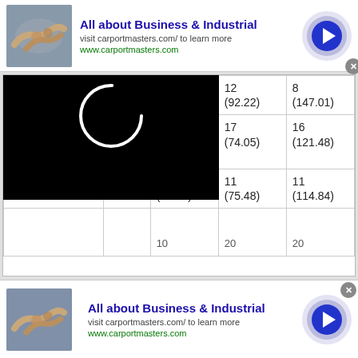[Figure (infographic): Advertisement banner: 'All about Business & Industrial' with handshake photo, visit carportmasters.com text, arrow button, and close button]
| Competition | Level | SP | FS | Total |
| --- | --- | --- | --- | --- |
| 31st Golden Bear 2019 | Senior | 6 (54.79) | 12 (92.22) | 8 (147.01) |
| International Halloween Cup 2019 | Senior | 8 (47.43) | 17 (74.05) | 16 (121.48) |
| U.S. International | Senior | 11 (39.36) | 11 (75.48) | 11 (114.84) |
[Figure (infographic): Advertisement banner (bottom): 'All about Business & Industrial' with handshake photo, visit carportmasters.com text, arrow button, and close button]